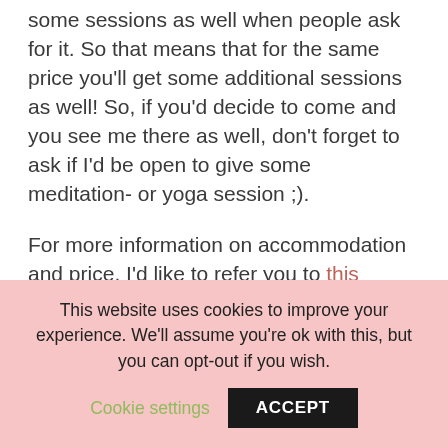some sessions as well when people ask for it. So that means that for the same price you'll get some additional sessions as well! So, if you'd decide to come and you see me there as well, don't forget to ask if I'd be open to give some meditation- or yoga session ;).

For more information on accommodation and price, I'd like to refer you to this website. Here you'll find some more pictures and you'll find more information on how to get into the location.

I hope I can share with you the love that I feel for
This website uses cookies to improve your experience. We'll assume you're ok with this, but you can opt-out if you wish.
Cookie settings  ACCEPT